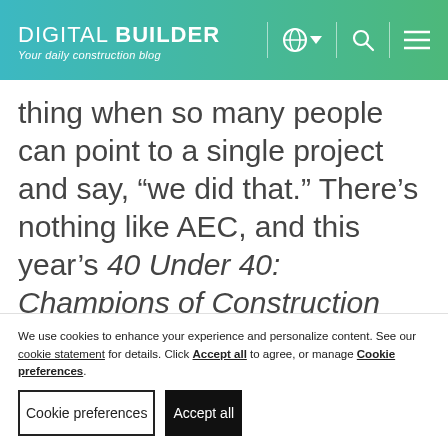DIGITAL BUILDER — Your daily construction blog
thing when so many people can point to a single project and say, “we did that.” There’s nothing like AEC, and this year’s 40 Under 40: Champions of Construction have demonstrated their ability to inspire, educate, and advance
We use cookies to enhance your experience and personalize content. See our cookie statement for details. Click Accept all to agree, or manage Cookie preferences.
Cookie preferences | Accept all